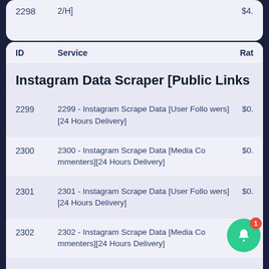| ID | Service | Rate |
| --- | --- | --- |
| 2298 | 2/H] | $4. |
| 2299 | 2299 - Instagram Scrape Data [User Followers][24 Hours Delivery] | $0. |
| 2300 | 2300 - Instagram Scrape Data [Media Commenters][24 Hours Delivery] | $0. |
| 2301 | 2301 - Instagram Scrape Data [User Followers][24 Hours Delivery] | $0. |
| 2302 | 2302 - Instagram Scrape Data [Media Commenters][24 Hours Delivery] |  |
| 2303 | 2303 - Instagram Scrape Data [User Follo...][24 Hours Delivery] | $0. |
Instagram Data Scraper [Public Links